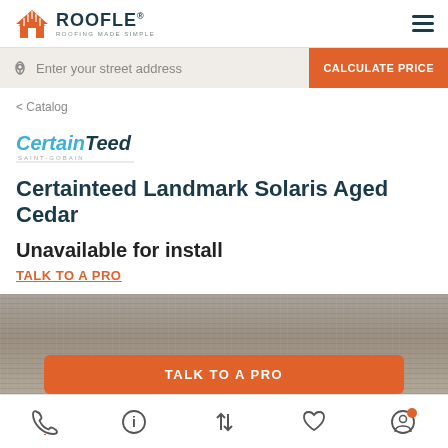[Figure (logo): Roofle logo with orange roof icon and dark blue ROOFLE text with tagline ROOFING MADE SIMPLE]
Enter your street address
CALCULATE PRICE
< Catalog
[Figure (logo): CertainTeed Saint-Gobain brand logo in blue and dark italic text]
Certainteed Landmark Solaris Aged Cedar
Unavailable for install
TALK TO A PRO
[Figure (photo): Photo of Aged Cedar shingle texture - gray-brown granulated roofing shingle material]
TALK TO A PRO